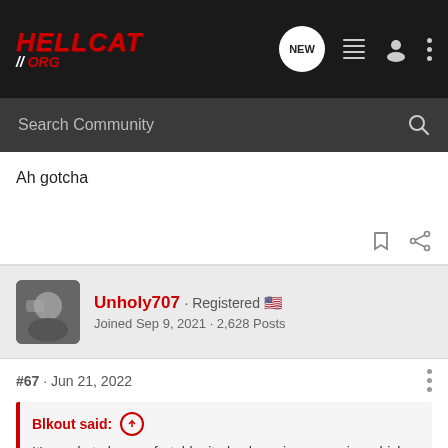HELLCAT // ORG - Navigation bar with search
Ah gotcha
Unholy707 · Registered
Joined Sep 9, 2021 · 2,628 Posts
#67 · Jun 21, 2022
Blkout said: ↑
It's made to be comfortable, it also has air suspension which raises at low sp...
They're                                                       ing